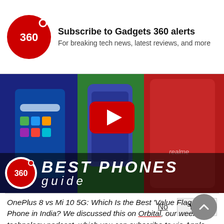[Figure (logo): Gadgets 360 red circle logo with '360' text]
Subscribe to Gadgets 360 alerts
For breaking tech news, latest reviews, and more
No
YES
[Figure (screenshot): Video thumbnail showing smartphones with YouTube play button overlay and '360 BEST PHONES guide' branding]
OnePlus 8 vs Mi 10 5G: Which Is the Best 'Value Flagship' Phone in India? We discussed this on Orbital, our weekly technology podcast, which you can subscribe to via Apple Podcasts or RSS, download the episode, or just hit the play button below.